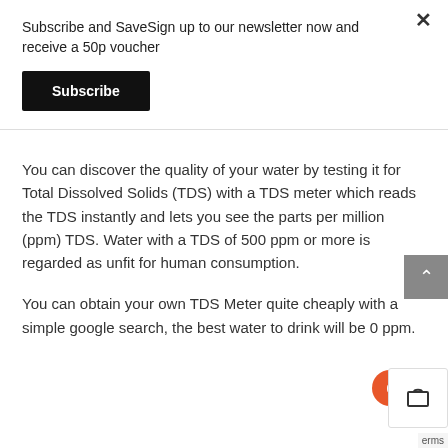Subscribe and SaveSign up to our newsletter now and receive a 50p voucher
Subscribe
You can discover the quality of your water by testing it for Total Dissolved Solids (TDS) with a TDS meter which reads the TDS instantly and lets you see the parts per million (ppm) TDS. Water with a TDS of 500 ppm or more is regarded as unfit for human consumption.
You can obtain your own TDS Meter quite cheaply with a simple google search, the best water to drink will be 0 ppm.